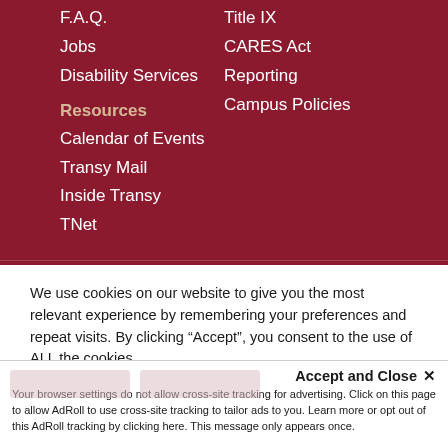F.A.Q.
Jobs
Disability Services
Title IX
CARES Act
Reporting
Campus Policies
Resources
Calendar of Events
Transy Mail
Inside Transy
TNet
We use cookies on our website to give you the most relevant experience by remembering your preferences and repeat visits. By clicking “Accept”, you consent to the use of ALL the cookies.
Do not sell my personal information.
Accept and Close ×
Your browser settings do not allow cross-site tracking for advertising. Click on this page to allow AdRoll to use cross-site tracking to tailor ads to you. Learn more or opt out of this AdRoll tracking by clicking here. This message only appears once.